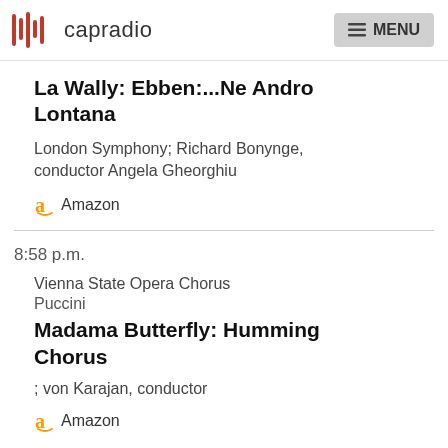capradio | MENU
La Wally: Ebben:...Ne Andro Lontana
London Symphony; Richard Bonynge, conductor Angela Gheorghiu
Amazon
8:58 p.m.
Vienna State Opera Chorus
Puccini
Madama Butterfly: Humming Chorus
; von Karajan, conductor
Amazon